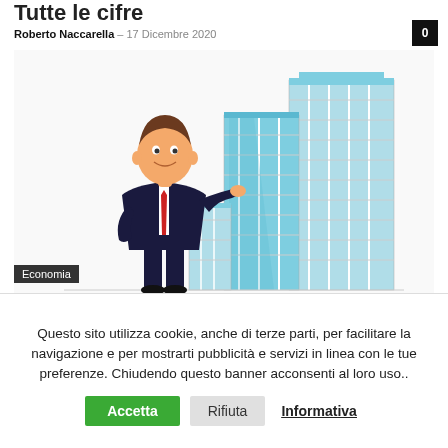Tutte le cifre
Roberto Naccarella - 17 Dicembre 2020
[Figure (illustration): Cartoon businessman in dark suit with red tie leaning on illustrated glass skyscrapers/bar chart buildings]
Economia
Quanto guadagna un amministratore di
Questo sito utilizza cookie, anche di terze parti, per facilitare la navigazione e per mostrarti pubblicità e servizi in linea con le tue preferenze. Chiudendo questo banner acconsenti al loro uso..
Accetta | Rifiuta | Informativa